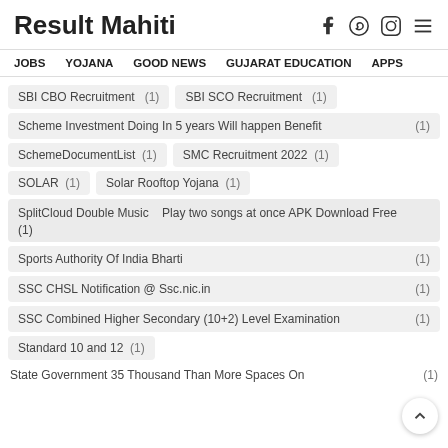Result Mahiti
JOBS   YOJANA   GOOD NEWS   GUJARAT EDUCATION   APPS
SBI CBO Recruitment (1)
SBI SCO Recruitment (1)
Scheme Investment Doing In 5 years Will happen Benefit (1)
SchemeDocumentList (1)
SMC Recruitment 2022 (1)
SOLAR (1)
Solar Rooftop Yojana (1)
SplitCloud Double Music   Play two songs at once APK Download Free (1)
Sports Authority Of India Bharti (1)
SSC CHSL Notification @ Ssc.nic.in (1)
SSC Combined Higher Secondary (10+2) Level Examination (1)
Standard 10 and 12 (1)
State Government 35 Thousand Than More Spaces On (1)